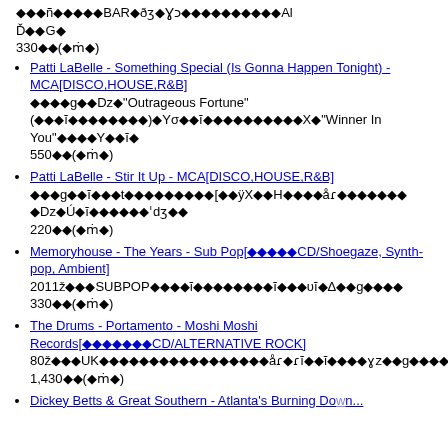◆◆◆ñ◆◆◆◆◆BAR◆ðʒ◆Ɣɔ◆◆◆◆◆◆◆◆◆◆Al
Ď◆◆G◆
330◆◆(◆ṅ◆)
Patti LaBelle - Something Special (Is Gonna Happen Tonight) - MCA[DISCO,HOUSE,R&B]
◆◆◆◆g◆◆Dz◆"Outrageous Fortune"(◆◆◆ĭ◆◆◆◆◆◆◆◆)◆Yσ◆◆ĭ◆◆◆◆◆◆◆◆◆◆X◆"Winner In You"◆◆◆◆Y◆◆ĭ◆
550◆◆(◆ṅ◆)
Patti LaBelle - Stir It Up - MCA[DISCO,HOUSE,R&B]
◆◆◆g◆◆ĭ◆◆◆t◆◆◆◆◆◆◆◆◆[◆◆ÿX◆◆Η◆◆◆◆åɾ◆◆◆◆◆◆◆ ◆Dz◆Ú◆ĭ◆◆◆◆◆◆ˈdʒ◆◆
220◆◆(◆ṅ◆)
Memoryhouse - The Years - Sub Pop[◆◆◆◆◆CD/Shoegaze, Synth-pop, Ambient]
2011ž◆◆◆SUBPOP◆◆◆◆ĭ◆◆◆◆◆◆◆◆ĭ◆◆◆υĭ◆Δ◆◆g◆◆◆◆
330◆◆(◆ṅ◆)
The Drums - Portamento - Moshi Moshi Records[◆◆◆◆◆◆◆CD/ALTERNATIVE ROCK]
80ž◆◆◆UK◆◆◆◆◆◆◆◆◆◆◆◆◆◆◆◆åɾ◆ɾĭ◆◆ĭ◆◆◆◆ɣz◆◆g◆◆◆◆◆◆◆◆◆◆Ū◆dz◆Ĭ◆◆
1,430◆◆(◆ṅ◆)
Dickey Betts & Great Southern - Atlanta's Burning Down...